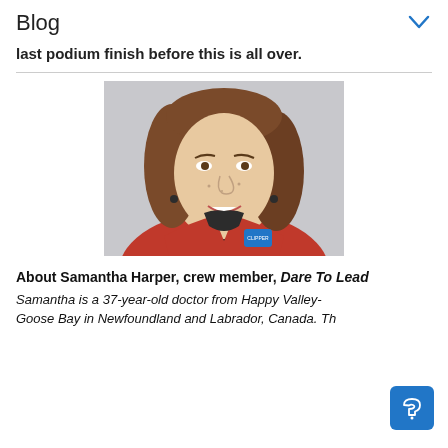Blog
last podium finish before this is all over.
[Figure (photo): Portrait photo of Samantha Harper wearing a red Clipper jacket with a badge, smiling, with brown hair]
About Samantha Harper, crew member, Dare To Lead
Samantha is a 37-year-old doctor from Happy Valley-Goose Bay in Newfoundland and Labrador, Canada. Th...